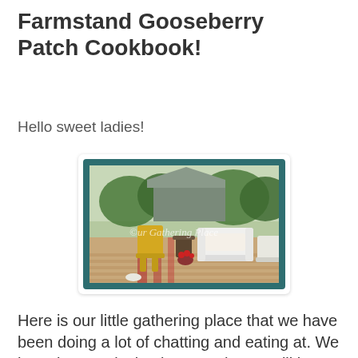Farmstand Gooseberry Patch Cookbook!
Hello sweet ladies!
[Figure (photo): Outdoor wooden deck with yellow Adirondack chairs, white wicker furniture, and red accents. A small building with a metal roof is visible in the background amid green trees. Watermark reads 'Our Gathering Place' and caption reads 'Prairie Flower Farm'.]
Here is our little gathering place that we have been doing a lot of chatting and eating at. We have been enjoying it so much! We will be building another one